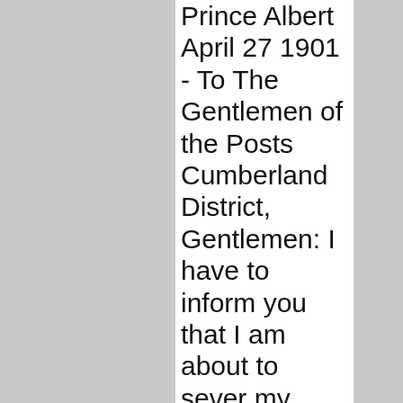Prince Albert April 27 1901 - To The Gentlemen of the Posts Cumberland District, Gentlemen: I have to inform you that I am about to sever my connection with you in Cumberland District, having been appointed to another charge, and that Mr. Factor R. H. Hall who is here now, is to be my successor. In parting with you I cannot but look back with satisfaction to the harmony that has